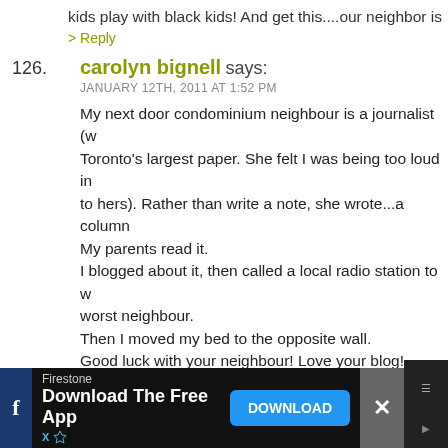kids play with black kids! And get this....our neighbor is
> Reply
126. carolyn bignell says:
JANUARY 12TH, 2011 AT 1:52 PM

My next door condominium neighbour is a journalist (w Toronto's largest paper. She felt I was being too loud in to hers). Rather than write a note, she wrote...a column My parents read it.
I blogged about it, then called a local radio station to wi worst neighbour.
Then I moved my bed to the opposite wall.
Good luck with your neighbour! Love your blog!
☺ C
> Reply
127. Funsize says:
JANUARY 12TH, 2011 AT 2:12 PM
[Figure (screenshot): Advertisement bar: Firestone - Download The Free App, with a blue DOWNLOAD button and close/social icons]